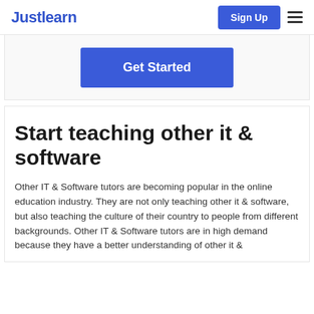Justlearn
Get Started
Start teaching other it & software
Other IT & Software tutors are becoming popular in the online education industry. They are not only teaching other it & software, but also teaching the culture of their country to people from different backgrounds. Other IT & Software tutors are in high demand because they have a better understanding of other it &